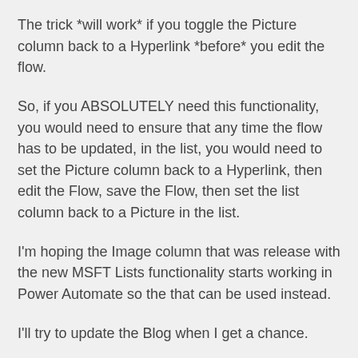The trick *will work* if you toggle the Picture column back to a Hyperlink *before* you edit the flow.
So, if you ABSOLUTELY need this functionality, you would need to ensure that any time the flow has to be updated, in the list, you would need to set the Picture column back to a Hyperlink, then edit the Flow, save the Flow, then set the list column back to a Picture in the list.
I'm hoping the Image column that was release with the new MSFT Lists functionality starts working in Power Automate so the that can be used instead.
I'll try to update the Blog when I get a chance.